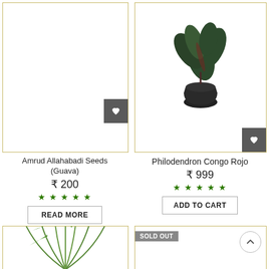[Figure (photo): Product card for Amrud Allahabadi Seeds (Guava) - empty white card area with wishlist heart button]
[Figure (photo): Product card showing Philodendron Congo Rojo plant in black pot with wishlist heart button]
Amrud Allahabadi Seeds (Guava)
₹ 200
★★★★★
READ MORE
Philodendron Congo Rojo
₹ 999
★★★★★
ADD TO CART
[Figure (photo): Partial product card showing a palm-like plant (areca palm) at bottom left]
[Figure (photo): Partial product card with SOLD OUT badge at bottom right]